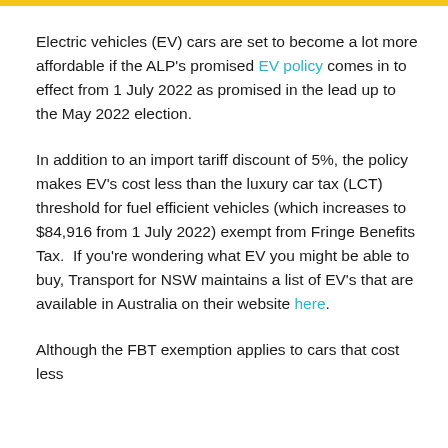Electric vehicles (EV) cars are set to become a lot more affordable if the ALP's promised EV policy comes in to effect from 1 July 2022 as promised in the lead up to the May 2022 election.
In addition to an import tariff discount of 5%, the policy makes EV's cost less than the luxury car tax (LCT) threshold for fuel efficient vehicles (which increases to $84,916 from 1 July 2022) exempt from Fringe Benefits Tax.  If you're wondering what EV you might be able to buy, Transport for NSW maintains a list of EV's that are available in Australia on their website here.
Although the FBT exemption applies to cars that cost less